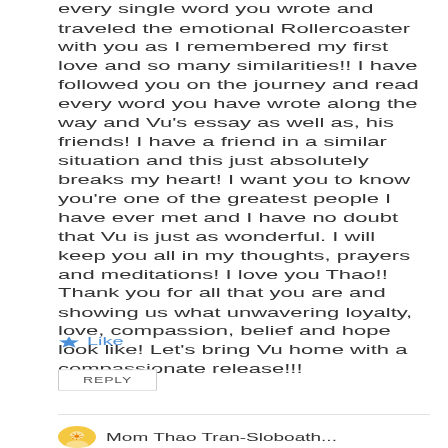every single word you wrote and traveled the emotional Rollercoaster with you as I remembered my first love and so many similarities!! I have followed you on the journey and read every word you have wrote along the way and Vu's essay as well as, his friends! I have a friend in a similar situation and this just absolutely breaks my heart! I want you to know you're one of the greatest people I have ever met and I have no doubt that Vu is just as wonderful. I will keep you all in my thoughts, prayers and meditations! I love you Thao!! Thank you for all that you are and showing us what unwavering loyalty, love, compassion, belief and hope look like! Let's bring Vu home with a compassionate release!!!
Like
REPLY